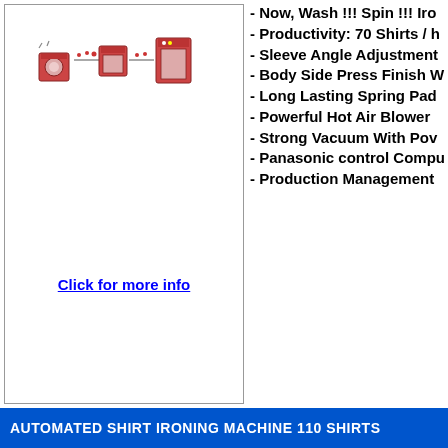[Figure (illustration): Small illustration of automated shirt ironing machine with multiple stations shown in sequence]
- Now, Wash !!! Spin !!! Iro
- Productivity: 70 Shirts / h
- Sleeve Angle Adjustment
- Body Side Press Finish W
- Long Lasting Spring Pad
- Powerful Hot Air Blower
- Strong Vacuum With Pow
- Panasonic control Compu
- Production Management
Click for more info
AUTOMATED SHIRT IRONING MACHINE 110 SHIRTS